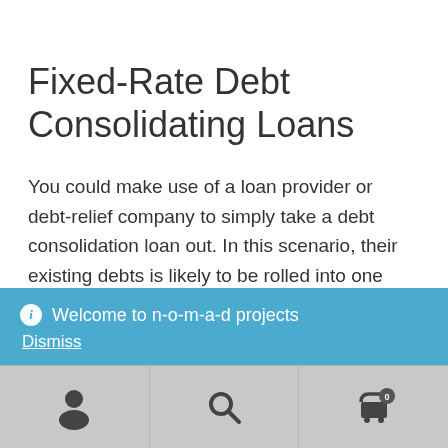Fixed-Rate Debt Consolidating Loans
You could make use of a loan provider or debt-relief company to simply take a debt consolidation loan out. In this scenario, their existing debts is likely to be rolled into one unsecured loan with one payment that is monthly. The interest rate on your debt consolidation loan should
ℹ Welcome to n-o-m-a-d projects
Dismiss
[Figure (screenshot): Bottom navigation bar with three icons: user/person icon on the left, search/magnifying glass icon in the center, and shopping cart icon with badge showing '0' on the right. Background is light gray.]